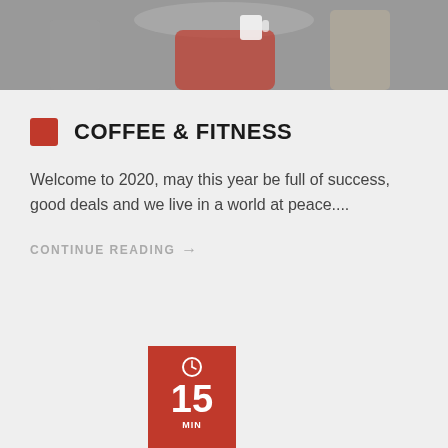[Figure (photo): Photo of a person in a red top holding a coffee cup]
COFFEE & FITNESS
Welcome to 2020, may this year be full of success, good deals and we live in a world at peace....
CONTINUE READING →
[Figure (infographic): Red badge with clock icon showing number 15 and label text MIN]